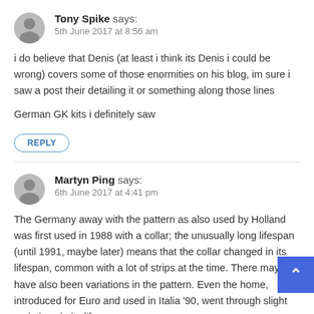Tony Spike says:
5th June 2017 at 8:56 am
i do believe that Denis (at least i think its Denis i could be wrong) covers some of those enormities on his blog, im sure i saw a post their detailing it or something along those lines

German GK kits i definitely saw
REPLY
Martyn Ping says:
6th June 2017 at 4:41 pm
The Germany away with the pattern as also used by Holland was first used in 1988 with a collar; the unusually long lifespan (until 1991, maybe later) means that the collar changed in its lifespan, common with a lot of strips at the time. There may have also been variations in the pattern. Even the home, introduced for Euro and used in Italia '90, went through slight variations in its lifespan.